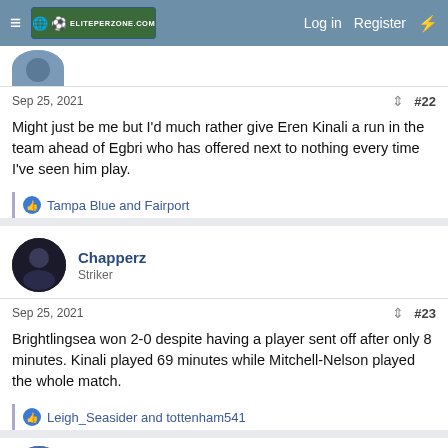Log in  Register
Sep 25, 2021  #22
Might just be me but I'd much rather give Eren Kinali a run in the team ahead of Egbri who has offered next to nothing every time I've seen him play.
Tampa Blue and Fairport
Chapperz
Striker
Sep 25, 2021  #23
Brightlingsea won 2-0 despite having a player sent off after only 8 minutes. Kinali played 69 minutes while Mitchell-Nelson played the whole match.
Leigh_Seasider and tottenham541
Yorkshire Blue